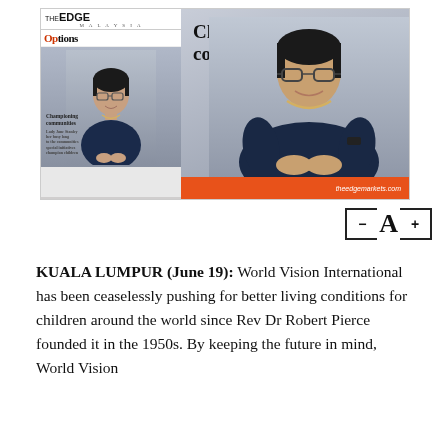[Figure (photo): The Edge Malaysia magazine cover and main article photo showing a woman (smiling, wearing glasses, dark navy top, pearl necklace) with the text 'Championing communities' and the magazine Options cover. Orange bar at bottom with theedgemarkets.com.]
[Figure (other): Font size controls: minus button, large A, plus button]
KUALA LUMPUR (June 19): World Vision International has been ceaselessly pushing for better living conditions for children around the world since Rev Dr Robert Pierce founded it in the 1950s. By keeping the future in mind, World Vision